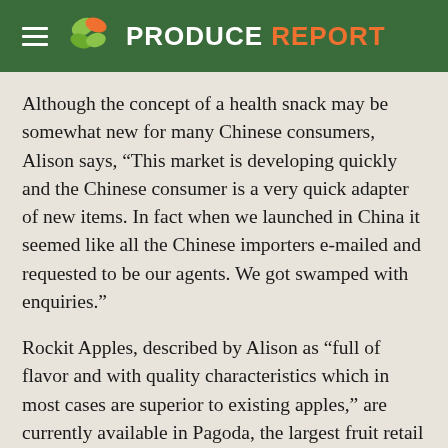PRODUCE REPORT
Although the concept of a health snack may be somewhat new for many Chinese consumers, Alison says, “This market is developing quickly and the Chinese consumer is a very quick adapter of new items. In fact when we launched in China it seemed like all the Chinese importers e-mailed and requested to be our agents. We got swamped with enquiries.”
Rockit Apples, described by Alison as “full of flavor and with quality characteristics which in most cases are superior to existing apples,” are currently available in Pagoda, the largest fruit retail store in China, OLE, AEON, and other stores.